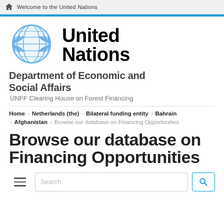Welcome to the United Nations
[Figure (logo): United Nations emblem logo in light blue]
United Nations
Department of Economic and Social Affairs
UNFF Clearing House on Forest Financing
Home › Netherlands (the) › Bilateral funding entity › Bahrain › Afghanistan › Browse our database on Financing Opportunities
Browse our database on Financing Opportunities
[Figure (screenshot): Search bar with hamburger menu icon and search button]